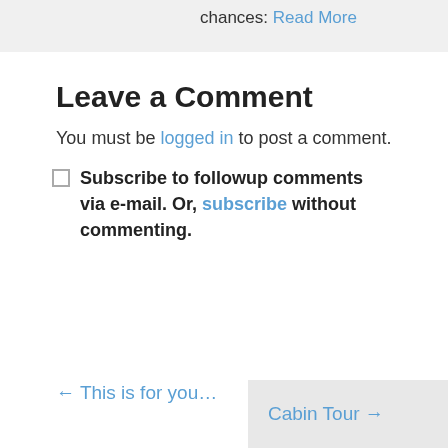chances. Read More
Leave a Comment
You must be logged in to post a comment.
Subscribe to followup comments via e-mail. Or, subscribe without commenting.
← This is for you…
Cabin Tour →